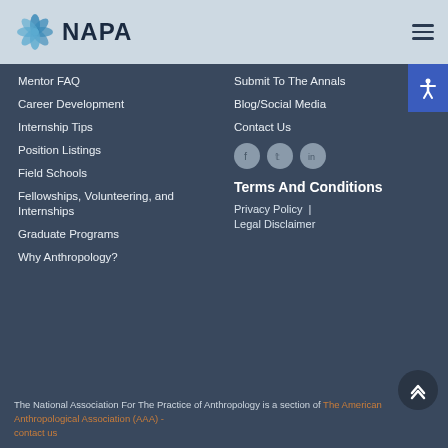NAPA
Mentor FAQ
Career Development
Internship Tips
Position Listings
Field Schools
Fellowships, Volunteering, and Internships
Graduate Programs
Why Anthropology?
Submit To The Annals
Blog/Social Media
Contact Us
[Figure (other): Social media icons: Facebook, Twitter, LinkedIn]
Terms And Conditions
Privacy Policy  |  Legal Disclaimer
The National Association For The Practice of Anthropology is a section of The American Anthropological Association (AAA) - contact us